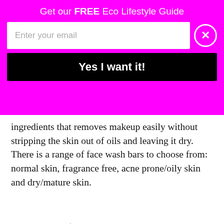Get our FREE Eco Lifestyle Guide
ingredients that removes makeup easily without stripping the skin out of oils and leaving it dry. There is a range of face wash bars to choose from: normal skin, fragrance free, acne prone/oily skin and dry/mature skin.
Price starts at $16. Purchase here.
[Figure (photo): Dark background eco/beauty product photo with wooden comb, toothbrush, and green leaves on a dark surface]
60 SHARES